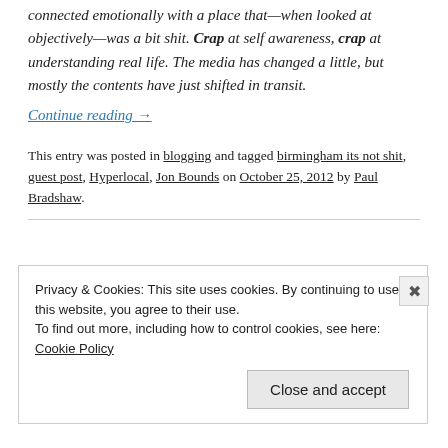connected emotionally with a place that—when looked at objectively—was a bit shit. Crap at self awareness, crap at understanding real life. The media has changed a little, but mostly the contents have just shifted in transit.
Continue reading →
This entry was posted in blogging and tagged birmingham its not shit, guest post, Hyperlocal, Jon Bounds on October 25, 2012 by Paul Bradshaw.
Privacy & Cookies: This site uses cookies. By continuing to use this website, you agree to their use.
To find out more, including how to control cookies, see here: Cookie Policy
Close and accept